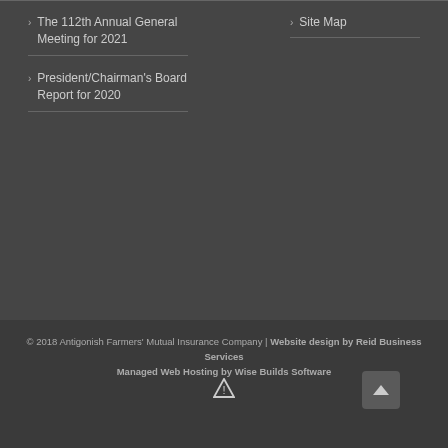The 112th Annual General Meeting for 2021
President/Chairman's Board Report for 2020
Site Map
© 2018 Antigonish Farmers' Mutual Insurance Company | Website design by Reid Business Services Managed Web Hosting by Wise Builds Software